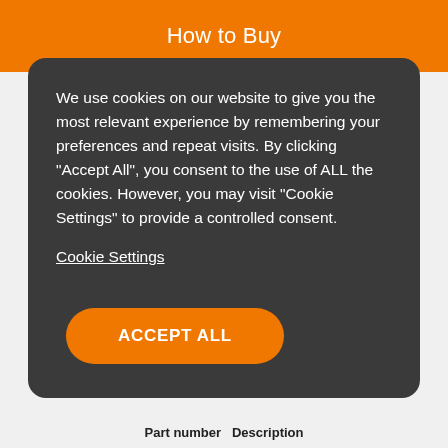How to Buy
We use cookies on our website to give you the most relevant experience by remembering your preferences and repeat visits. By clicking “Accept All”, you consent to the use of ALL the cookies. However, you may visit “Cookie Settings” to provide a controlled consent.
Cookie Settings
ACCEPT ALL
Part number   Description